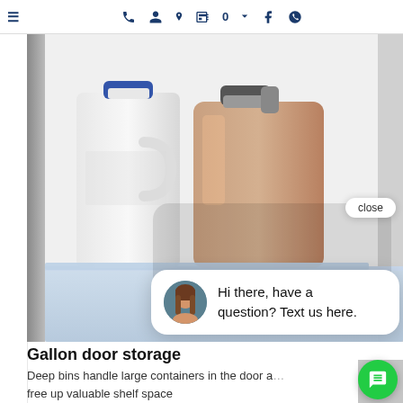≡  [phone] [user+] [location] [cart] 0 ▾  [facebook] [yelp]
[Figure (photo): Refrigerator door storage bin with a white gallon milk jug and a brown gallon jug inside a fridge interior. A chat popup overlay reads 'Hi there, have a question? Text us here.' with a close button and a female avatar.]
Gallon door storage
Deep bins handle large containers in the door and free up valuable shelf space